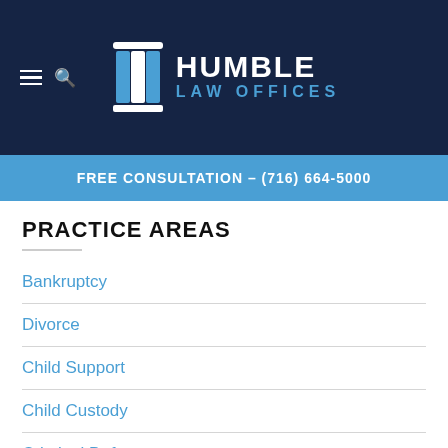[Figure (logo): Humble Law Offices logo with column icon and navigation icons (hamburger menu and search)]
FREE CONSULTATION – (716) 664-5000
PRACTICE AREAS
Bankruptcy
Divorce
Child Support
Child Custody
Criminal Defense
DWI Defense
Traffic Tickets